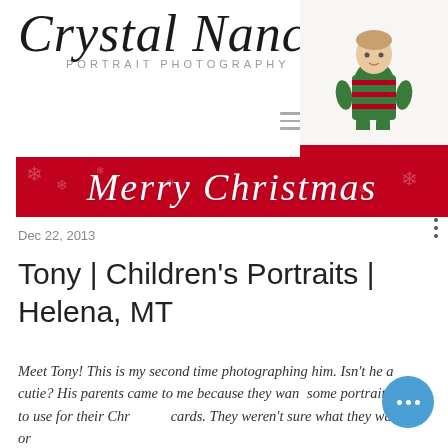[Figure (logo): Crystal Nance Portrait Photography logo with script font and baby photo]
[Figure (photo): Baby/toddler in green and red striped Christmas pajamas sitting against white background, with red Christmas banner below reading Merry Christmas]
Dec 22, 2013
Tony | Children's Portraits | Helena, MT
Meet Tony! This is my second time photographing him. Isn't he a cutie? His parents came to me because they want some portraits done to use for their Chr cards. They weren't sure what they wanted or